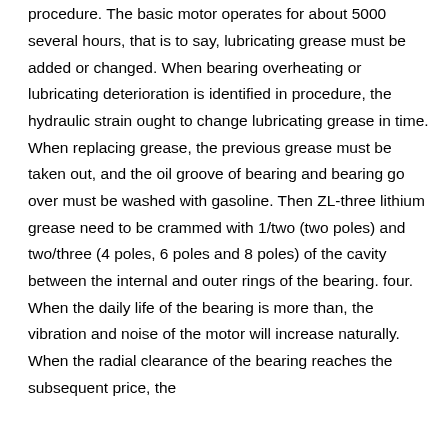removing the fault, it can be put into procedure three, make sure that the motor is well lubricated during procedure. The basic motor operates for about 5000 several hours, that is to say, lubricating grease must be added or changed. When bearing overheating or lubricating deterioration is identified in procedure, the hydraulic strain ought to change lubricating grease in time. When replacing grease, the previous grease must be taken out, and the oil groove of bearing and bearing go over must be washed with gasoline. Then ZL-three lithium grease need to be crammed with 1/two (two poles) and two/three (4 poles, 6 poles and 8 poles) of the cavity between the internal and outer rings of the bearing. four. When the daily life of the bearing is more than, the vibration and noise of the motor will increase naturally. When the radial clearance of the bearing reaches the subsequent price, the